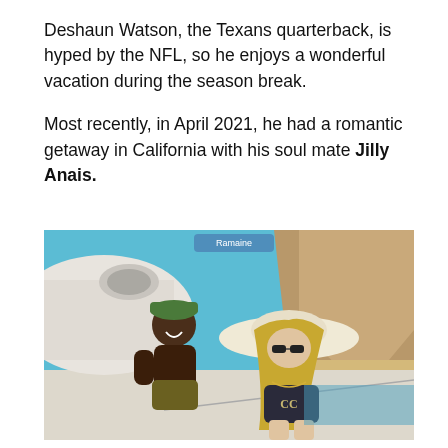Deshaun Watson, the Texans quarterback, is hyped by the NFL, so he enjoys a wonderful vacation during the season break.
Most recently, in April 2021, he had a romantic getaway in California with his soul mate Jilly Anais.
[Figure (photo): A couple relaxing on a yacht in sunny weather. A man wearing a green cap and swim shorts sits in the background smiling. A woman in a dark Chanel bikini and wide-brim hat with sunglasses poses in the foreground. A private jet and rocky coastal mountain are visible in the background.]